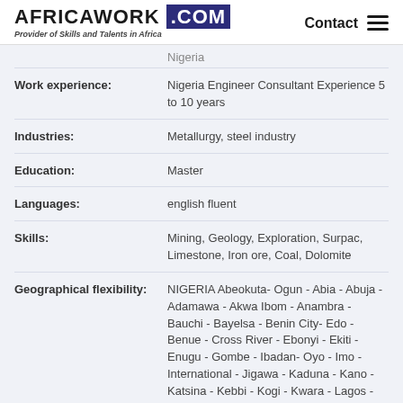AFRICAWORK .COM — Provider of Skills and Talents in Africa — Contact
Nigeria
| Field | Value |
| --- | --- |
| Work experience: | Nigeria Engineer Consultant Experience 5 to 10 years |
| Industries: | Metallurgy, steel industry |
| Education: | Master |
| Languages: | english fluent |
| Skills: | Mining, Geology, Exploration, Surpac, Limestone, Iron ore, Coal, Dolomite |
| Geographical flexibility: | NIGERIA Abeokuta- Ogun - Abia - Abuja - Adamawa - Akwa Ibom - Anambra - Bauchi - Bayelsa - Benin City- Edo - Benue - Cross River - Ebonyi - Ekiti - Enugu - Gombe - Ibadan- Oyo - Imo - International - Jigawa - Kaduna - Kano - Katsina - Kebbi - Kogi - Kwara - Lagos - Maiduguri- Borno - Nasarawa - Niger - |